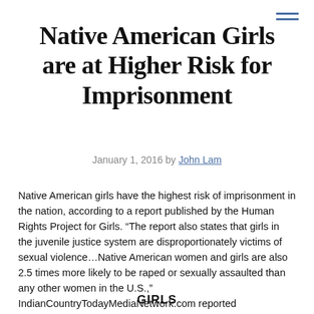Native American Girls are at Higher Risk for Imprisonment
January 1, 2016 by John Lam
Native American girls have the highest risk of imprisonment in the nation, according to a report published by the Human Rights Project for Girls. “The report also states that girls in the juvenile justice system are disproportionately victims of sexual violence…Native American women and girls are also 2.5 times more likely to be raped or sexually assaulted than any other women in the U.S.,” IndianCountryTodayMediaNetwork.com reported
GIRLS